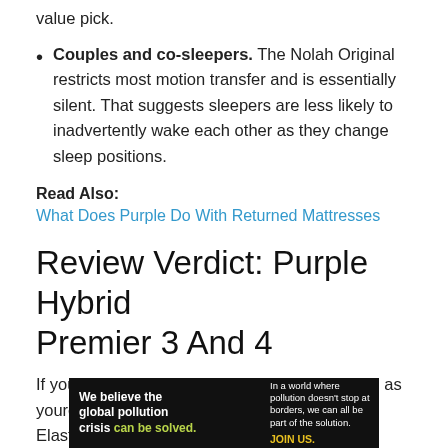value pick.
Couples and co-sleepers. The Nolah Original restricts most motion transfer and is essentially silent. That suggests sleepers are less likely to inadvertently wake each other as they change sleep positions.
Read Also: What Does Purple Do With Returned Mattresses
Review Verdict: Purple Hybrid Premier 3 And 4
If you can afford it, we think youll like it, so long as youre onboard with the uniqueness of Hyper-Elastic Polymer.
[Figure (infographic): Advertisement banner for Pure Earth: 'We believe the global pollution crisis can be solved.' with tagline 'In a world where pollution doesn't stop at borders, we can all be part of the solution. JOIN US.' and Pure Earth logo with diamond/triangle icon.]